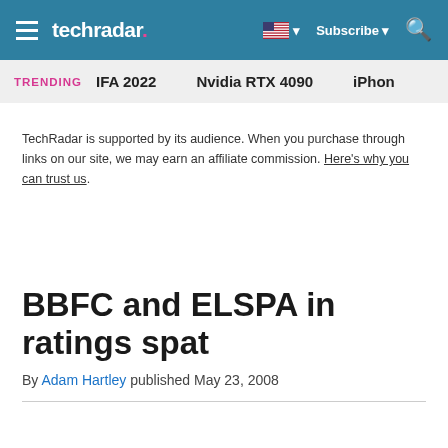techradar
TRENDING   IFA 2022   Nvidia RTX 4090   iPhon
TechRadar is supported by its audience. When you purchase through links on our site, we may earn an affiliate commission. Here's why you can trust us.
BBFC and ELSPA in ratings spat
By Adam Hartley published May 23, 2008